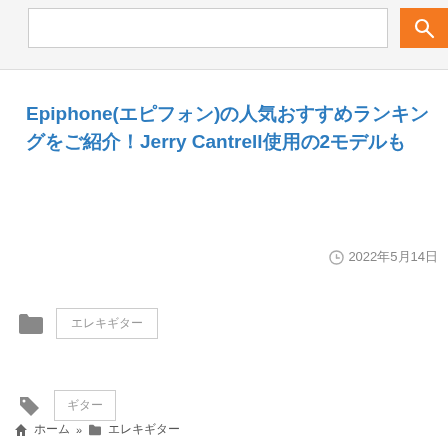Epiphone(エピフォン)の人気おすすめランキングをご紹介！Jerry Cantrell使用の2モデルも
2022年5月14日
エレキギター
ギター
ホーム » エレキギター